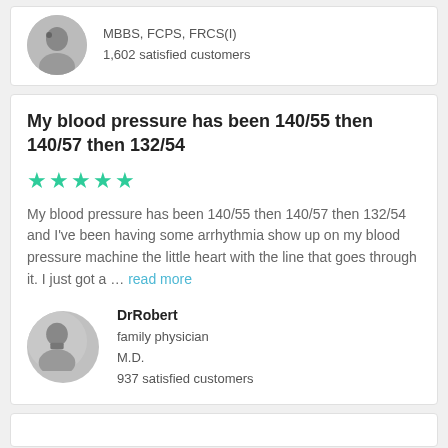[Figure (photo): Circular avatar photo of a doctor (black and white), partially cropped at top]
MBBS, FCPS, FRCS(I)
1,602 satisfied customers
My blood pressure has been 140/55 then 140/57 then 132/54
★★★★★
My blood pressure has been 140/55 then 140/57 then 132/54 and I've been having some arrhythmia show up on my blood pressure machine the little heart with the line that goes through it. I just got a … read more
[Figure (photo): Circular avatar photo of DrRobert, a family physician, black and white portrait]
DrRobert
family physician
M.D.
937 satisfied customers